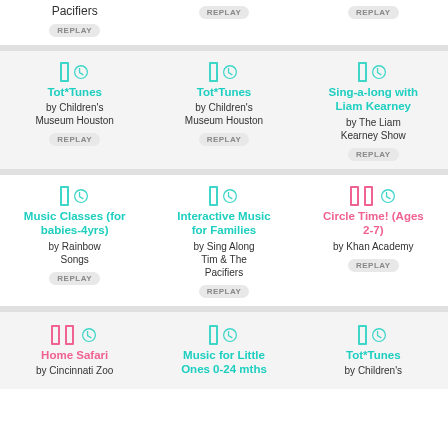Pacifiers — REPLAY
REPLAY
REPLAY
Tot*Tunes by Children's Museum Houston — REPLAY
Tot*Tunes by Children's Museum Houston — REPLAY
Sing-a-long with Liam Kearney by The Liam Kearney Show — REPLAY
Music Classes (for babies-4yrs) by Rainbow Songs — REPLAY
Interactive Music for Families by Sing Along Tim & The Pacifiers — REPLAY
Circle Time! (Ages 2-7) by Khan Academy — REPLAY
Home Safari by Cincinnati Zoo
Music for Little Ones 0-24 mths
Tot*Tunes by Children's